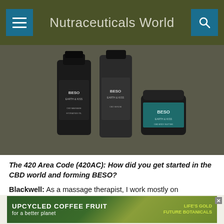Nutraceuticals World
[Figure (photo): Three BESO Earth & Kiss branded products: two dark bottles and one dark jar with teal label, displayed on a dark olive background.]
The 420 Area Code (420AC): How did you get started in the CBD world and forming BESO?
Blackwell: As a massage therapist, I work mostly on professional athletes, people who are on stage, and high-
[Figure (illustration): Advertisement banner reading 'UPCYCLED COFFEE FRUIT for a better planet' with a nature background and 'Life's Gold Future Botanicals' branding on the right.]